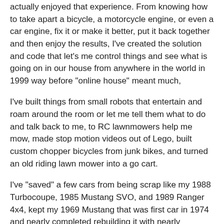actually enjoyed that experience. From knowing how to take apart a bicycle, a motorcycle engine, or even a car engine, fix it or make it better, put it back together and then enjoy the results, I've created the solution and code that let's me control things and see what is going on in our house from anywhere in the world in 1999 way before "online house" meant much,
I've built things from small robots that entertain and roam around the room or let me tell them what to do and talk back to me, to RC lawnmowers help me mow, made stop motion videos out of Lego, built custom chopper bicycles from junk bikes, and turned an old riding lawn mower into a go cart.
I've "saved" a few cars from being scrap like my 1988 Turbocoupe, 1985 Mustang SVO, and 1989 Ranger 4x4, kept my 1969 Mustang that was first car in 1974 and nearly completed rebuilding it with nearly everything done myself. I already have another rescue under way in the form of a 1966 Galaxie 500 fastback that Austin and I are building.
I've built a some patios and car ports, put up a few fences,